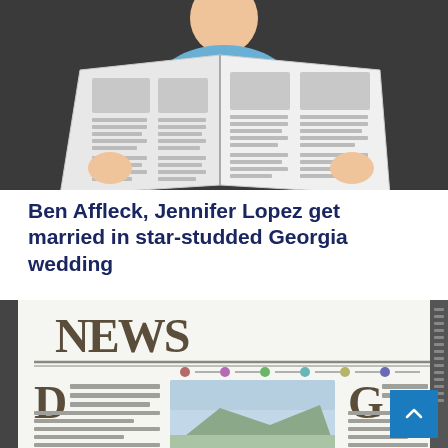[Figure (illustration): Cartoon illustration of a person with light skin and blue shirt reading an open newspaper against a dark gray background]
Ben Affleck, Jennifer Lopez get married in star-studded Georgia wedding
[Figure (illustration): Illustration of a newspaper front page with 'NEWS' headline, columns with text lines, colored dots, and a landscape image in the center column]